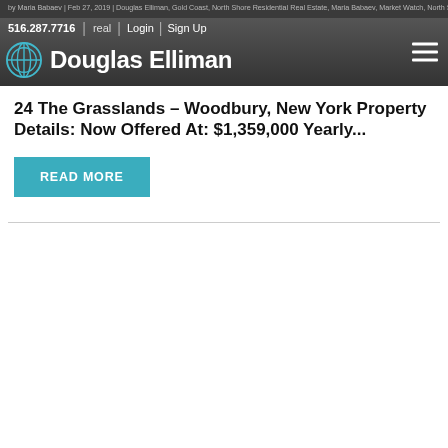by Maria Babaev | Feb 27, 2019 | Douglas Elliman, Gold Coast, North Shore Residential Real Estate, Maria Babaev, Market Watch, North Shore Residential Real Estate, Woodbury | 0 |
[Figure (logo): Douglas Elliman real estate logo with circular icon and white text on dark background, plus hamburger menu icon on right]
24 The Grasslands – Woodbury, New York Property Details: Now Offered At: $1,359,000 Yearly...
READ MORE